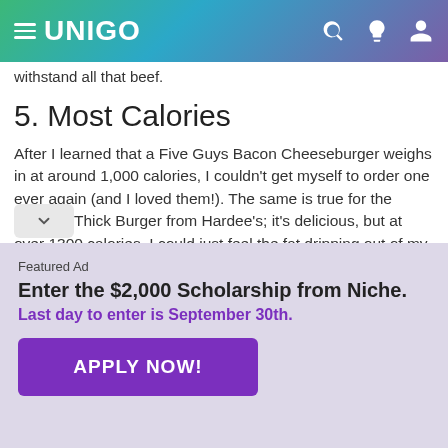UNIGO
withstand all that beef.
5. Most Calories
After I learned that a Five Guys Bacon Cheeseburger weighs in at around 1,000 calories, I couldn't get myself to order one ever again (and I loved them!). The same is true for the Monster Thick Burger from Hardee's; it's delicious, but at over 1300 calories, I could just feel the fat dripping out of my pores. If your waistline is heaving just thinking about those rs, just wait until you see how much the fattest
Featured Ad
Enter the $2,000 Scholarship from Niche.
Last day to enter is September 30th.
APPLY NOW!